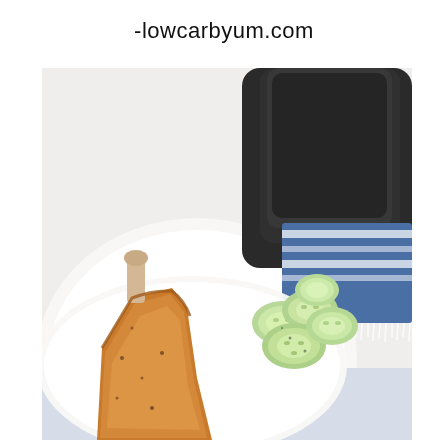-lowcarbyum.com
[Figure (photo): Photo of a fried breaded pork chop on a white plate with sliced cucumbers, next to an air fryer basket. A blue and white patterned cloth is visible in the background on a white surface.]